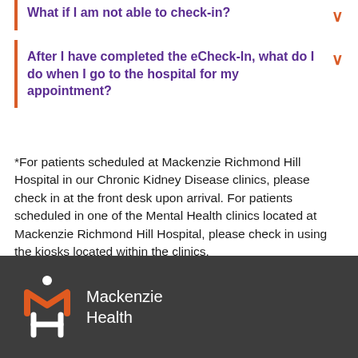What if I am not able to check-in?
After I have completed the eCheck-In, what do I do when I go to the hospital for my appointment?
*For patients scheduled at Mackenzie Richmond Hill Hospital in our Chronic Kidney Disease clinics, please check in at the front desk upon arrival. For patients scheduled in one of the Mental Health clinics located at Mackenzie Richmond Hill Hospital, please check in using the kiosks located within the clinics.
[Figure (logo): Mackenzie Health logo with orange M figure and white text on dark grey background]